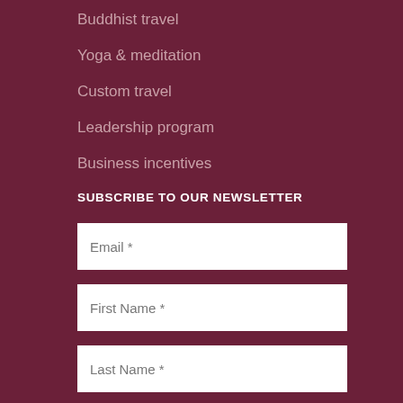Buddhist travel
Yoga & meditation
Custom travel
Leadership program
Business incentives
SUBSCRIBE TO OUR NEWSLETTER
Email *
First Name *
Last Name *
Subscribe
CHOOSE YOUR DESTINATION
Nepal